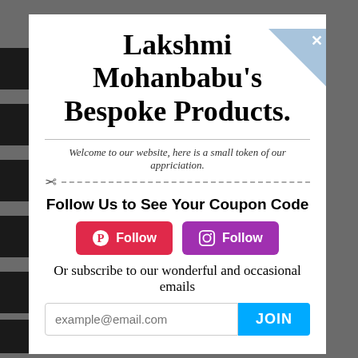Lakshmi Mohanbabu's Bespoke Products.
Welcome to our website, here is a small token of our appriciation.
Follow Us to See Your Coupon Code
[Figure (infographic): Pinterest Follow button (red/pink) and Instagram Follow button (purple), side by side]
Or subscribe to our wonderful and occasional emails
[Figure (infographic): Email input box with placeholder 'example@email.com' and blue JOIN button]